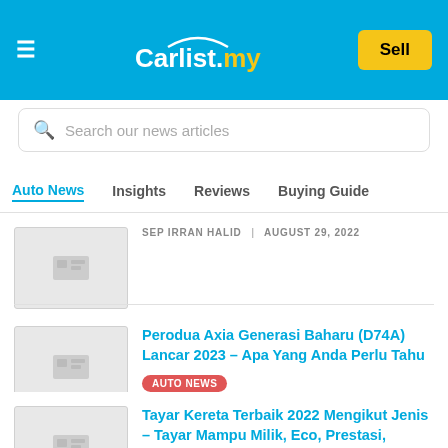Carlist.my — Sell
[Figure (screenshot): Search bar with placeholder text 'Search our news articles']
Auto News | Insights | Reviews | Buying Guide
SEP IRRAN HALID | AUGUST 29, 2022
Perodua Axia Generasi Baharu (D74A) Lancar 2023 – Apa Yang Anda Perlu Tahu
AUTO NEWS
MUHAMMAD SHARIL TARMIZE | JUNE 20, 2022
Tayar Kereta Terbaik 2022 Mengikut Jenis – Tayar Mampu Milik, Eco, Prestasi, Tahan…